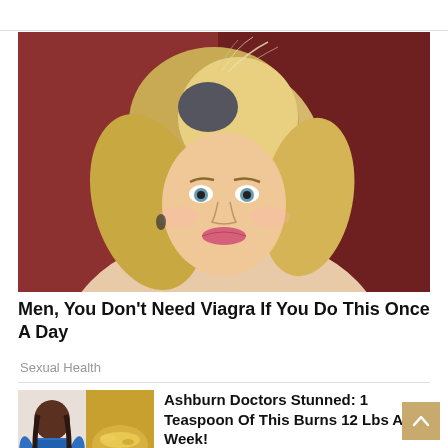[Figure (photo): Portrait photo of a middle-aged blonde woman with a layered bob haircut, blue eyes, pink lipstick, smiling at the camera against a dark red background.]
Men, You Don't Need Viagra If You Do This Once A Day
Sexual Health
[Figure (photo): Composite thumbnail image showing a woman in a blue top, a close-up of ground turmeric or spice powder, and an overweight person's midsection.]
Ashburn Doctors Stunned: 1 Teaspoon Of This Burns 12 Lbs A Week!
Keto